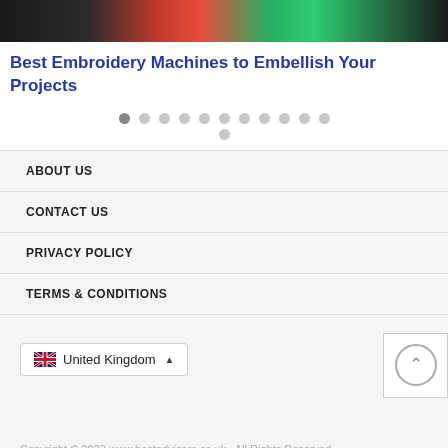[Figure (photo): Partial view of colorful embroidery image at top of page]
Best Embroidery Machines to Embellish Your Projects
[Figure (other): Pagination dots: 12 dots in a row plus one centered below, first dot slightly darker indicating active state]
ABOUT US
CONTACT US
PRIVACY POLICY
TERMS & CONDITIONS
United Kingdom
Copyright © 2022 www.bestadvisers.co.uk.  All Rights Reserved